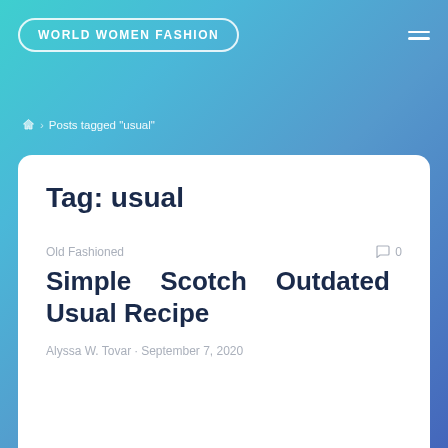WORLD WOMEN FASHION
Posts tagged "usual"
Tag: usual
Old Fashioned
0
Simple Scotch Outdated Usual Recipe
Alyssa W. Tovar · September 7, 2020